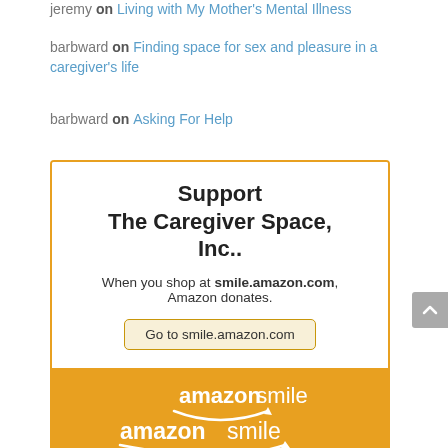jeremy on Living with My Mother's Mental Illness
barbward on Finding space for sex and pleasure in a caregiver's life
barbward on Asking For Help
[Figure (infographic): Amazon Smile donation banner: 'Support The Caregiver Space, Inc.. When you shop at smile.amazon.com, Amazon donates. Go to smile.amazon.com' with AmazonSmile logo on orange footer.]